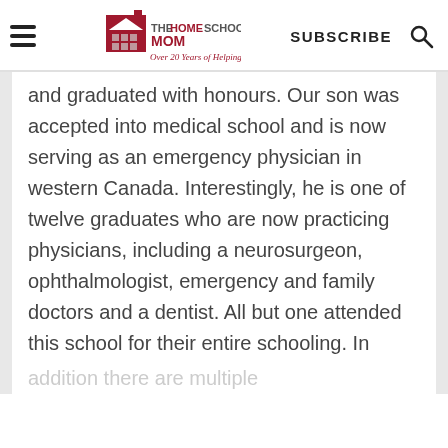THE HOMESCHOOL MOM — Over 20 Years of Helping Homeschoolers! | SUBSCRIBE | [search]
and graduated with honours. Our son was accepted into medical school and is now serving as an emergency physician in western Canada. Interestingly, he is one of twelve graduates who are now practicing physicians, including a neurosurgeon, ophthalmologist, emergency and family doctors and a dentist. All but one attended this school for their entire schooling. In addition there are multiple